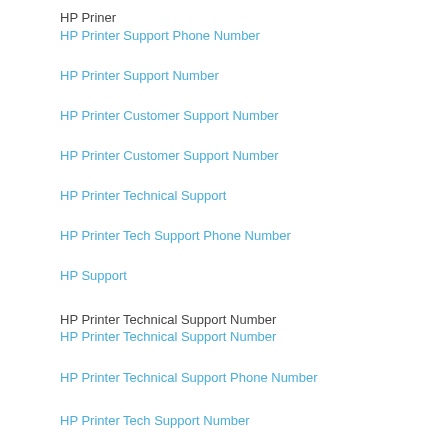HP Priner
HP Printer Support Phone Number
HP Printer Support Number
HP Printer Customer Support Number
HP Printer Customer Support Number
HP Printer Technical Support
HP Printer Tech Support Phone Number
HP Support
HP Printer Technical Support Number
HP Printer Technical Support Number
HP Printer Technical Support Phone Number
HP Printer Tech Support Number